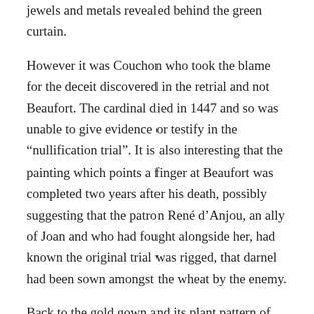jewels and metals revealed behind the green curtain.
However it was Couchon who took the blame for the deceit discovered in the retrial and not Beaufort. The cardinal died in 1447 and so was unable to give evidence or testify in the “nullification trial”. It is also interesting that the painting which points a finger at Beaufort was completed two years after his death, possibly suggesting that the patron René d’Anjou, an ally of Joan and who had fought alongside her, had known the original trial was rigged, that darnel had been sown amongst the wheat by the enemy.
Back to the gold gown and its plant pattern of leafy stems and ripening pods, symbolising a rich harvest. But all is not as it seems. The kingdom of heaven has had its field of good seed contaminated by the enemy. Darnel does indeed grow among the wheat and is difficult to recognise the difference between the two. But